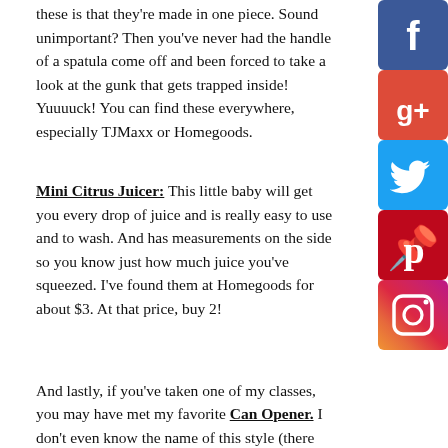these is that they're made in one piece. Sound unimportant? Then you've never had the handle of a spatula come off and been forced to take a look at the gunk that gets trapped inside! Yuuuuck! You can find these everywhere, especially TJMaxx or Homegoods.
Mini Citrus Juicer: This little baby will get you every drop of juice and is really easy to use and to wash. And has measurements on the side so you know just how much juice you've squeezed. I've found them at Homegoods for about $3. At that price, buy 2!
And lastly, if you've taken one of my classes, you may have met my favorite Can Opener. I don't even know the name of this style (there are several different companies that make these), but the key is that they run the top edges of the can so that you don't end up with any sharp edges. Also, the can opener never actually comes
[Figure (other): Social media share buttons: Facebook (dark blue), Google+ (red), Twitter (light blue), Pinterest (dark red), Instagram (magenta/purple)]